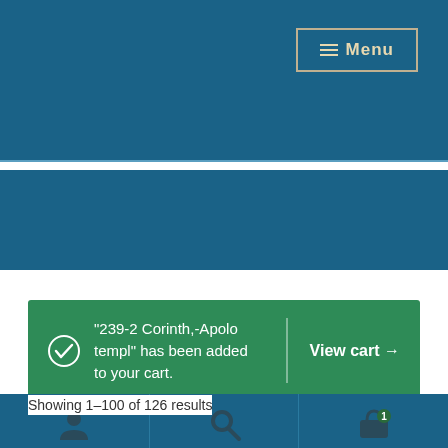≡ Menu
Home › Places › Greece
"239-2 Corinth,-Apolo templ" has been added to your cart. View cart →
Showing 1–100 of 126 results